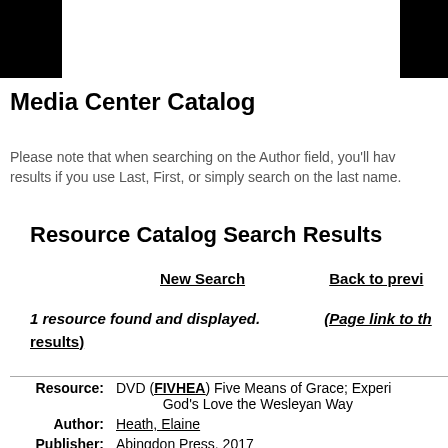Media Center Catalog
Please note that when searching on the Author field, you'll have better results if you use Last, First, or simply search on the last name.
Resource Catalog Search Results
New Search   Back to previous
1 resource found and displayed.   (Page link to the results)
| Field | Value |
| --- | --- |
| Resource: | DVD (FIVHEA) Five Means of Grace; Experiencing God's Love the Wesleyan Way |
| Author: | Heath, Elaine |
| Publisher: | Abingdon Press, 2017 |